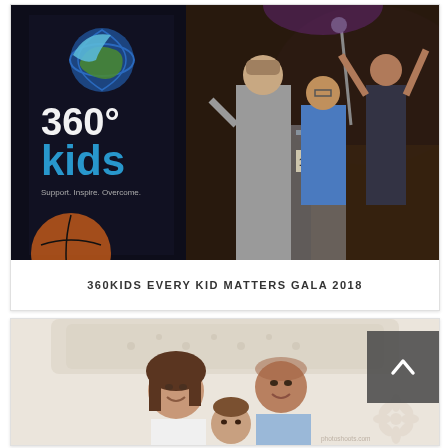[Figure (photo): Event photo from the 360Kids Every Kid Matters Gala 2018. Shows people at a podium with a 360 Kids banner (logo with globe and kids, tagline Support Inspire Overcome) on the left. A man in a grey suit stands at the podium, a man in blue shirt with glasses and a woman in a dark dress celebrate with arms raised in the background. Event signage showing 105.9 visible on podium.]
360KIDS EVERY KID MATTERS GALA 2018
[Figure (photo): Family portrait photo showing a smiling woman and man with a young child, photographed on or near a bed with an upholstered headboard. Floral watermark/logo visible in bottom right corner with text 'photoshoots.com'.]